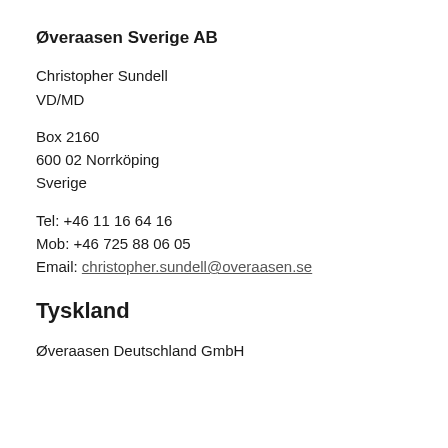Øveraasen Sverige AB
Christopher Sundell
VD/MD
Box 2160
600 02 Norrköping
Sverige
Tel: +46 11 16 64 16
Mob: +46 725 88 06 05
Email: christopher.sundell@overaasen.se
Tyskland
Øveraasen Deutschland GmbH